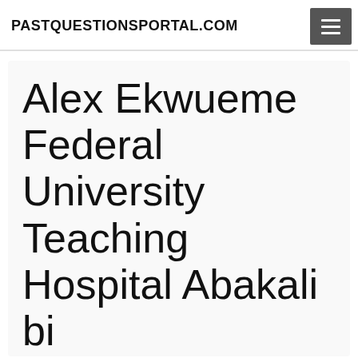PASTQUESTIONSPORTAL.COM
Alex Ekwueme Federal University Teaching Hospital Abakaliki